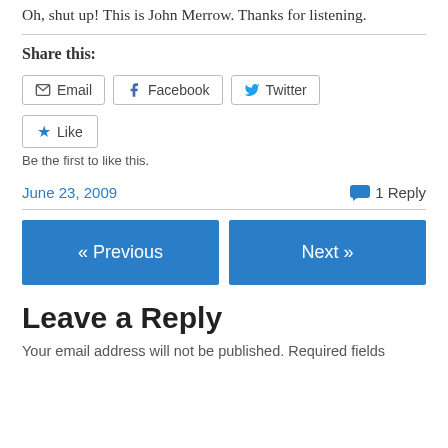Oh, shut up! This is John Merrow. Thanks for listening.
Share this:
Email  Facebook  Twitter
Like
Be the first to like this.
June 23, 2009    1 Reply
« Previous    Next »
Leave a Reply
Your email address will not be published. Required fields